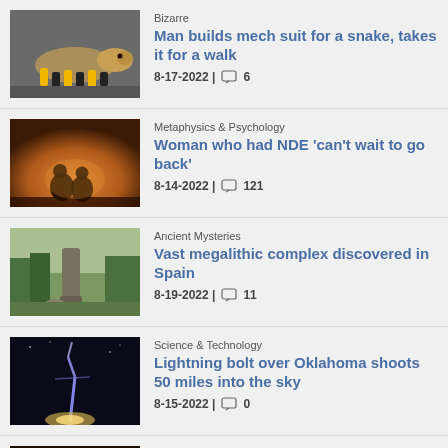[Figure (photo): Snake wearing a robotic mech suit with yellow and black mechanical legs]
Bizarre
Man builds mech suit for a snake, takes it for a walk
8-17-2022 | 6
[Figure (photo): Two silhouetted figures sitting together in a warm sunset landscape]
Metaphysics & Psychology
Woman who had NDE 'can't wait to go back'
8-14-2022 | 121
[Figure (photo): Standing stone megalith in a green landscape]
Ancient Mysteries
Vast megalithic complex discovered in Spain
8-19-2022 | 11
[Figure (photo): Lightning bolt shooting upward into the night sky over Oklahoma]
Science & Technology
Lightning bolt over Oklahoma shoots 50 miles into the sky
8-15-2022 | 0
[Figure (photo): Partially visible image for Ancient Mysteries article about Howard]
Ancient Mysteries
New evidence suggests Howard